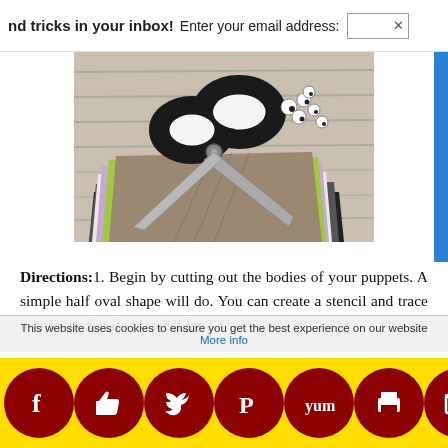nd tricks in your inbox!  Enter your email address:
[Figure (photo): Scissors, colorful felt fabric swatches (black, white, light purple, green, textured), and googly eyes on a wooden surface — craft supplies for making puppets]
Directions:1. Begin by cutting out the bodies of your puppets. A simple half oval shape will do. You can create a stencil and trace it onto the felt if you wish for a
This website uses cookies to ensure you get the best experience on our website More info